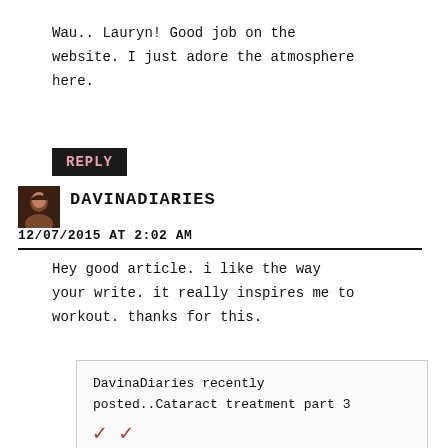Wau.. Lauryn! Good job on the website. I just adore the atmosphere here.
REPLY
[Figure (photo): Avatar photo of DavinaDiaries author]
DAVINADIARIES
12/07/2015 AT 2:02 AM
Hey good article. i like the way your write. it really inspires me to workout. thanks for this.
DavinaDiaries recently posted..Cataract treatment part 3